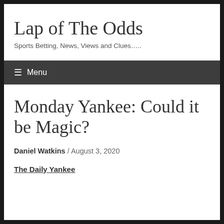Lap of The Odds
Sports Betting, News, Views and Clues…..
≡ Menu
Monday Yankee: Could it be Magic?
Daniel Watkins / August 3, 2020
The Daily Yankee